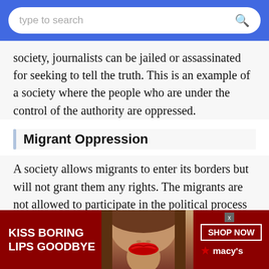type to search
society, journalists can be jailed or assassinated for seeking to tell the truth. This is an example of a society where the people who are under the control of the authority are oppressed.
Migrant Oppression
A society allows migrants to enter its borders but will not grant them any rights. The migrants are not allowed to participate in the political process and are not protected by the laws that apply to citizens. The migrants can be forced to work for lo
[Figure (photo): Advertisement banner for Macy's lipstick: 'KISS BORING LIPS GOODBYE' with a woman's face showing red lips and a 'SHOP NOW' button with Macy's star logo.]